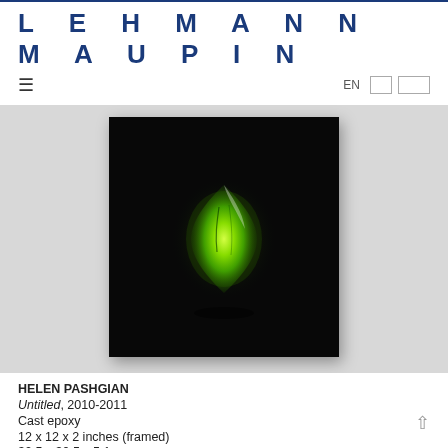LEHMANN MAUPIN
≡  EN
[Figure (photo): Artwork photo: a black-framed square piece mounted on a gray gallery wall. Inside the black background, a glowing green translucent leaf-like or diamond-shaped epoxy cast object illuminated at the center, photographed against darkness.]
HELEN PASHGIAN
Untitled, 2010-2011
Cast epoxy
12 x 12 x 2 inches (framed)
30.5 x 30.5 x 5.1 cm